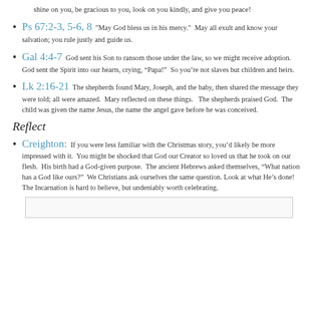shine on you, be gracious to you, look on you kindly, and give you peace!
Ps 67:2-3, 5-6, 8  "May God bless us in his mercy."  May all exult and know your salvation; you rule justly and guide us.
Gal 4:4-7  God sent his Son to ransom those under the law, so we might receive adoption.  God sent the Spirit into our hearts, crying, “Papa!”  So you’re not slaves but children and heirs.
Lk 2:16-21  The shepherds found Mary, Joseph, and the baby, then shared the message they were told; all were amazed.  Mary reflected on these things.   The shepherds praised God.  The child was given the name Jesus, the name the angel gave before he was conceived.
Reflect
Creighton:  If you were less familiar with the Christmas story, you’d likely be more impressed with it.  You might be shocked that God our Creator so loved us that he took on our flesh.  His birth had a God-given purpose.  The ancient Hebrews asked themselves, “What nation has a God like ours?”  We Christians ask ourselves the same question. Look at what He’s done!  The Incarnation is hard to believe, but undeniably worth celebrating.
[Figure (other): Empty text box for user input]